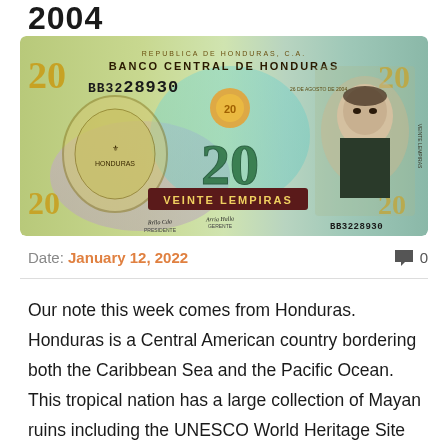2004
[Figure (photo): Front face of a Honduran 20 Lempiras banknote (BB3228930), featuring the Banco Central de Honduras seal, portrait of a man on the right, central '20 Veinte Lempiras' text, and decorative elements in green, purple, and gold.]
Date: January 12, 2022   💬 0
Our note this week comes from Honduras. Honduras is a Central American country bordering both the Caribbean Sea and the Pacific Ocean. This tropical nation has a large collection of Mayan ruins including the UNESCO World Heritage Site Copan (Mayan city). Additionally, Honduras is home to one of the oldest